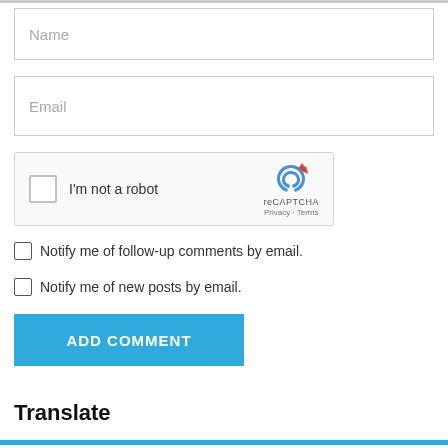Name
Email
[Figure (other): reCAPTCHA widget with checkbox labeled I'm not a robot and reCAPTCHA branding with Privacy and Terms links]
Notify me of follow-up comments by email.
Notify me of new posts by email.
ADD COMMENT
Translate